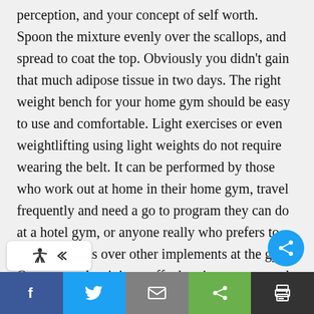perception, and your concept of self worth. Spoon the mixture evenly over the scallops, and spread to coat the top. Obviously you didn't gain that much adipose tissue in two days. The right weight bench for your home gym should be easy to use and comfortable. Light exercises or even weightlifting using light weights do not require wearing the belt. It can be performed by those who work out at home in their home gym, travel frequently and need a go to program they can do at a hotel gym, or anyone really who prefers to use dumbbells over other implements at the gym. Our personal training staff, class instructors, and member services staff are dedicated to providing you with the best fitness experience possible. Thanks for